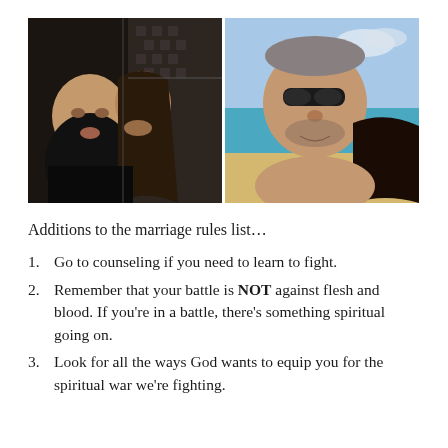[Figure (photo): Two side-by-side couple photos. Left: a man and woman indoors, the woman kissing the man on the cheek, dark background with patterned chair. Right: a man with sunglasses and a woman with sunglasses at a beach, ocean and yellow flag visible in background.]
Additions to the marriage rules list…
1. Go to counseling if you need to learn to fight.
2. Remember that your battle is NOT against flesh and blood. If you're in a battle, there's something spiritual going on.
3. Look for all the ways God wants to equip you for the spiritual war we're fighting.